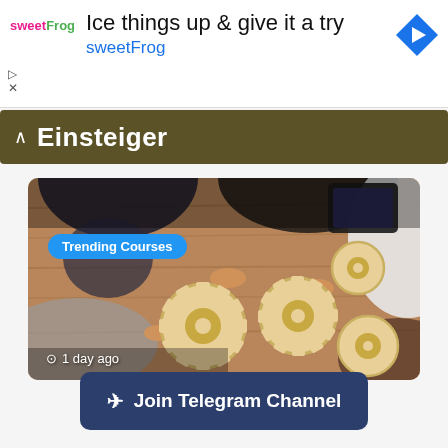[Figure (infographic): Advertisement banner for sweetFrog frozen yogurt with logo, headline text, blue sub-text, and navigation arrow icon]
Einsteiger
[Figure (photo): Overhead view of people arranging wooden gear pieces on a wooden table, with a tablet device visible. Overlaid with 'Trending Courses' badge and '1 day ago' timestamp.]
Join Telegram Channel